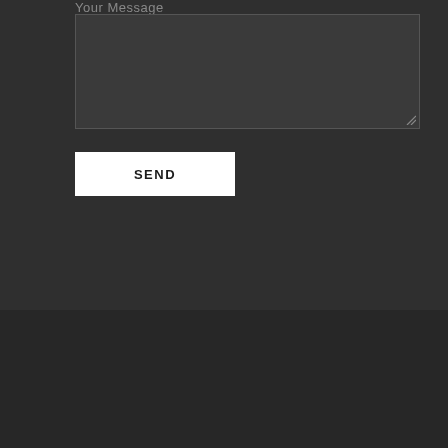Your Message
[Figure (screenshot): Dark textarea input field for message entry]
SEND
Copyrights 2022 © Team Soda
TOP
(619) 900-6256